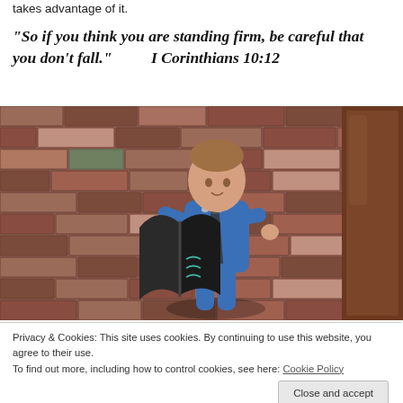takes advantage of it.
“So if you think you are standing firm, be careful that you don’t fall.”    I Corinthians 10:12
[Figure (photo): A young child wearing a blue shirt and tie, holding an open book, standing in front of a brick wall with a wooden door visible to the right.]
Privacy & Cookies: This site uses cookies. By continuing to use this website, you agree to their use.
To find out more, including how to control cookies, see here: Cookie Policy
Close and accept